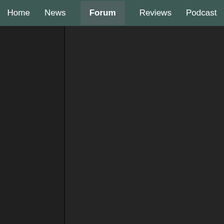Home | News | Forum | Reviews | Podcast
01:06UTC
us
go
cr
of
de
Of
I
lo
th
ga
al
No,
yetis
don't
use